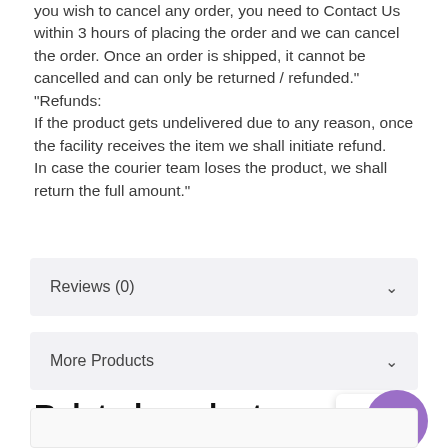you wish to cancel any order, you need to Contact Us within 3 hours of placing the order and we can cancel the order. Once an order is shipped, it cannot be cancelled and can only be returned / refunded." "Refunds: If the product gets undelivered due to any reason, once the facility receives the item we shall initiate refund. In case the courier team loses the product, we shall return the full amount."
Reviews (0)
More Products
Related products